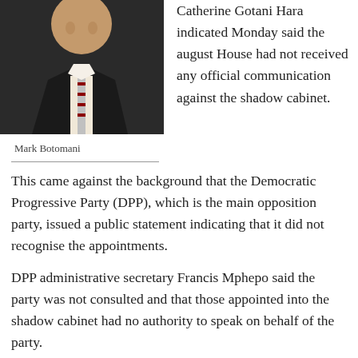[Figure (photo): A man in a dark suit with a striped tie, cropped photo showing upper body and head area.]
Mark Botomani
Catherine Gotani Hara indicated Monday said the august House had not received any official communication against the shadow cabinet.
This came against the background that the Democratic Progressive Party (DPP), which is the main opposition party, issued a public statement indicating that it did not recognise the appointments.
DPP administrative secretary Francis Mphepo said the party was not consulted and that those appointed into the shadow cabinet had no authority to speak on behalf of the party.
Chitipa South legislator Werani Chilenga, who is the Shadow Minister of Natural Resources, told the House that there was